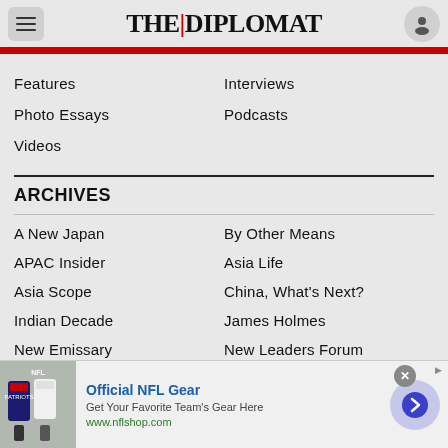THE|DIPLOMAT
Features
Interviews
Photo Essays
Podcasts
Videos
ARCHIVES
A New Japan
By Other Means
APAC Insider
Asia Life
Asia Scope
China, What's Next?
Indian Decade
James Holmes
New Emissary
New Leaders Forum
[Figure (screenshot): Advertisement banner for Official NFL Gear showing NFL jerseys photo, text 'Official NFL Gear', 'Get Your Favorite Team's Gear Here', 'www.nflshop.com', close button, and forward arrow button]